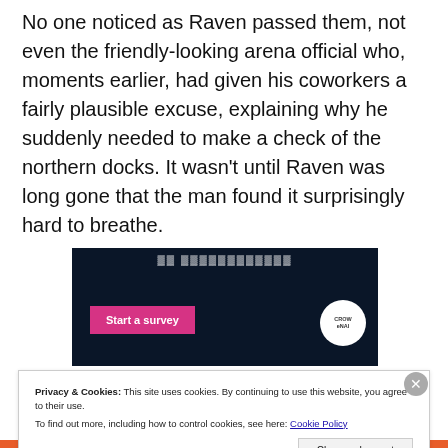No one noticed as Raven passed them, not even the friendly-looking arena official who, moments earlier, had given his coworkers a fairly plausible excuse, explaining why he suddenly needed to make a check of the northern docks. It wasn't until Raven was long gone that the man found it surprisingly hard to breathe.
[Figure (screenshot): Dark navy advertisement banner with white bold text at top, a pink 'Start a survey' button on the left, and a circular white logo on the right labeled 'CROW' or similar.]
Privacy & Cookies: This site uses cookies. By continuing to use this website, you agree to their use.
To find out more, including how to control cookies, see here: Cookie Policy
Close and accept